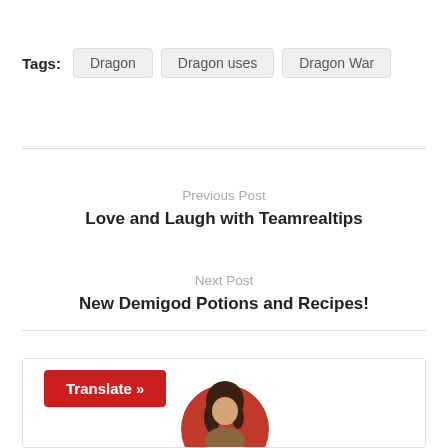Tags: Dragon  Dragon uses  Dragon War
Previous Post
Love and Laugh with Teamrealtips
Next Post
New Demigod Potions and Recipes!
[Figure (illustration): Circular avatar illustration of a woman with long dark hair on a red background, partially visible at bottom of page]
Translate »